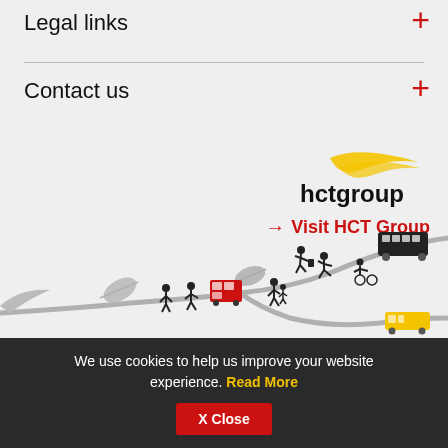Legal links
Contact us
[Figure (logo): HCT Group logo with yellow swoosh and 'hctgroup' text, plus 'Visit HCT Group' link with red arrow]
[Figure (illustration): Decorative illustration of a winding road with a bus, double decker bus, walking people, leaf shapes, and yellow vehicle]
We use cookies to help us improve your website experience. Read More
X Close